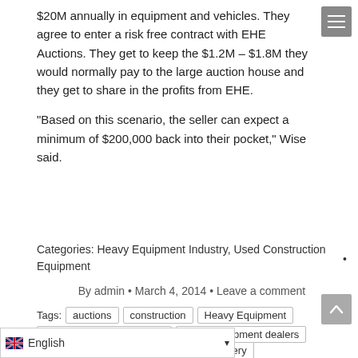$20M annually in equipment and vehicles. They agree to enter a risk free contract with EHE Auctions. They get to keep the $1.2M – $1.8M they would normally pay to the large auction house and they get to share in the profits from EHE.
"Based on this scenario, the seller can expect a minimum of $200,000 back into their pocket," Wise said.
Categories: Heavy Equipment Industry, Used Construction Equipment
By admin • March 4, 2014 • Leave a comment
Tags: auctions | construction | Heavy Equipment | heavy equipment auctions | heavy equipment dealers | heavy equipment rental company | Heavy Machinery